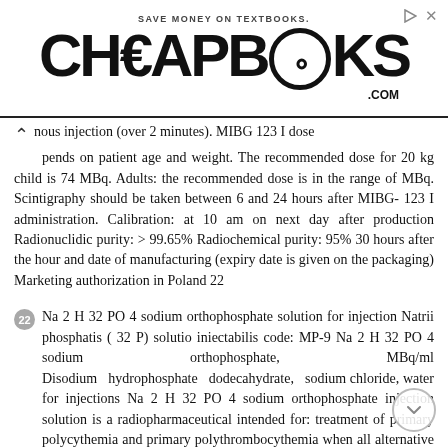[Figure (logo): CheapBooks.com advertisement banner with text 'SAVE MONEY ON TEXTBOOKS.' above the logo]
nous injection (over 2 minutes). MIBG 123 I dose depends on patient age and weight. The recommended dose for 20 kg child is 74 MBq. Adults: the recommended dose is in the range of MBq. Scintigraphy should be taken between 6 and 24 hours after MIBG- 123 I administration. Calibration: at 10 am on next day after production Radionuclidic purity: > 99.65% Radiochemical purity: 95% 30 hours after the hour and date of manufacturing (expiry date is given on the packaging) Marketing authorization in Poland 22
22 Na 2 H 32 PO 4 sodium orthophosphate solution for injection Natrii phosphatis ( 32 P) solutio iniectabilis code: MP-9 Na 2 H 32 PO 4 sodium orthophosphate, MBq/ml Disodium hydrophosphate dodecahydrate, sodium chloride, water for injections Na 2 H 32 PO 4 sodium orthophosphate injection solution is a radiopharmaceutical intended for: treatment of primary polycythemia and primary polythrombocythemia when all alternative forms of